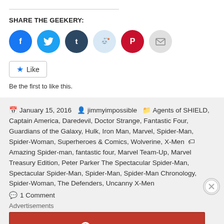SHARE THE GEEKERY:
[Figure (infographic): Row of six social sharing icon buttons: Facebook (blue), Twitter (light blue), Tumblr (dark navy), Reddit (light blue), Pinterest (red), Email (gray)]
Like  Be the first to like this.
January 15, 2016  jimmyimpossible  Agents of SHIELD, Captain America, Daredevil, Doctor Strange, Fantastic Four, Guardians of the Galaxy, Hulk, Iron Man, Marvel, Spider-Man, Spider-Woman, Superheroes & Comics, Wolverine, X-Men  Amazing Spider-man, fantastic four, Marvel Team-Up, Marvel Treasury Edition, Peter Parker The Spectacular Spider-Man, Spectacular Spider-Man, Spider-Man, Spider-Man Chronology, Spider-Woman, The Defenders, Uncanny X-Men
1 Comment
Advertisements
[Figure (infographic): Longreads advertisement banner: red background with Longreads logo and tagline 'The best stories on the web — ours, and everyone else's.']